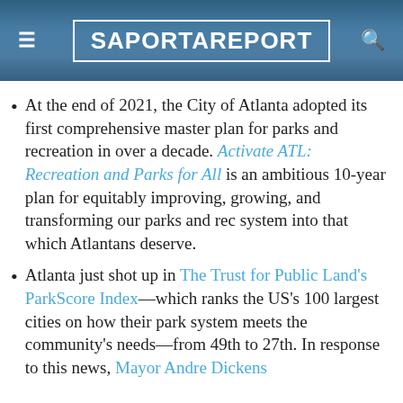SaportaReport
At the end of 2021, the City of Atlanta adopted its first comprehensive master plan for parks and recreation in over a decade. Activate ATL: Recreation and Parks for All is an ambitious 10-year plan for equitably improving, growing, and transforming our parks and rec system into that which Atlantans deserve.
Atlanta just shot up in The Trust for Public Land's ParkScore Index—which ranks the US's 100 largest cities on how their park system meets the community's needs—from 49th to 27th. In response to this news, Mayor Andre Dickens